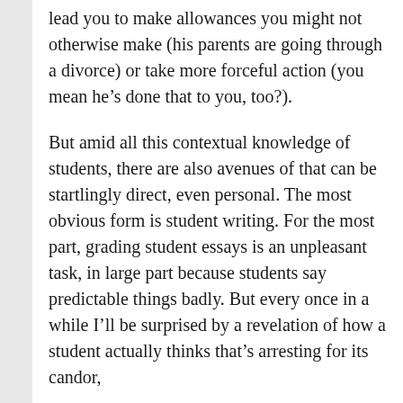lead you to make allowances you might not otherwise make (his parents are going through a divorce) or take more forceful action (you mean he’s done that to you, too?).
But amid all this contextual knowledge of students, there are also avenues of that can be startlingly direct, even personal. The most obvious form is student writing. For the most part, grading student essays is an unpleasant task, in large part because students say predictable things badly. But every once in a while I’ll be surprised by a revelation of how a student actually thinks that’s arresting for its candor,